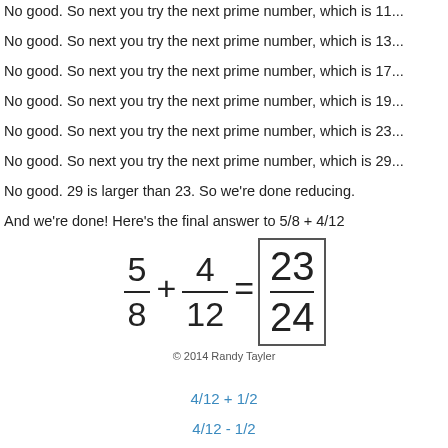No good. So next you try the next prime number, which is 11...
No good. So next you try the next prime number, which is 13...
No good. So next you try the next prime number, which is 17...
No good. So next you try the next prime number, which is 19...
No good. So next you try the next prime number, which is 23...
No good. So next you try the next prime number, which is 29...
No good. 29 is larger than 23. So we're done reducing.
And we're done! Here's the final answer to 5/8 + 4/12
© 2014 Randy Tayler
4/12 + 1/2
4/12 - 1/2